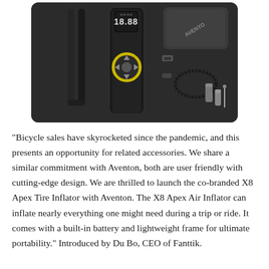[Figure (photo): Product photo of the X8 Apex Tire Inflator laid flat on a dark surface, showing the device with digital display reading 18.88, yellow-ringed control buttons, a hose attachment, USB-C cable, carrying pouch with AVENTON branding, and valve adapters/accessories.]
“Bicycle sales have skyrocketed since the pandemic, and this presents an opportunity for related accessories. We share a similar commitment with Aventon, both are user friendly with cutting-edge design. We are thrilled to launch the co-branded X8 Apex Tire Inflator with Aventon. The X8 Apex Air Inflator can inflate nearly everything one might need during a trip or ride. It comes with a built-in battery and lightweight frame for ultimate portability.” Introduced by Du Bo, CEO of Fanttik.